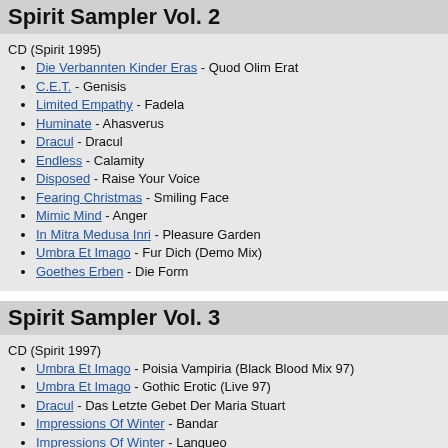Spirit Sampler Vol. 2
CD (Spirit 1995)
Die Verbannten Kinder Eras - Quod Olim Erat
C.E.T. - Genisis
Limited Empathy - Fadela
Huminate - Ahasverus
Dracul - Dracul
Endless - Calamity
Disposed - Raise Your Voice
Fearing Christmas - Smiling Face
Mimic Mind - Anger
In Mitra Medusa Inri - Pleasure Garden
Umbra Et Imago - Fur Dich (Demo Mix)
Goethes Erben - Die Form
Spirit Sampler Vol. 3
CD (Spirit 1997)
Umbra Et Imago - Poisia Vampiria (Black Blood Mix 97)
Umbra Et Imago - Gothic Erotic (Live 97)
Dracul - Das Letzte Gebet Der Maria Stuart
Impressions Of Winter - Bandar
Impressions Of Winter - Langueo
Chains Of Fear - Lost In Dreams
Endless - Brain
Endless - Fire (Between Mix)
In Mitra Medusa Inri - Lachen, Weinen, Einsam Sein
In Mitra Medusa Inri - Dark Room
Sentenced - Road Into Wafer...